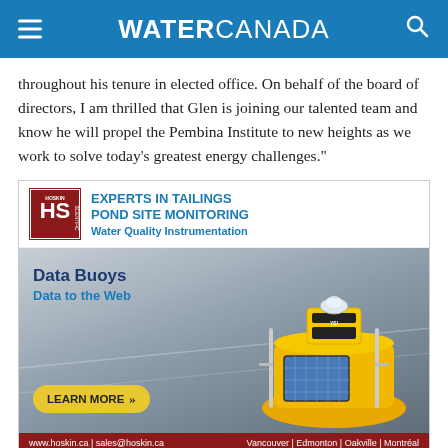WATER CANADA
throughout his tenure in elected office. On behalf of the board of directors, I am thrilled that Glen is joining our talented team and know he will propel the Pembina Institute to new heights as we work to solve today’s greatest energy challenges.”
[Figure (infographic): Hoskin Scientific advertisement for Experts in Tailings Pond Site Monitoring - Water Quality Instrumentation. Features a data buoy product with solar panel, yellow float, and YSI sensor. Text: Data Buoys, Data to the Web. Learn More button. Footer: www.hoskin.ca | sales@hoskin.ca | Vancouver | Edmonton | Oakville | Montréal]